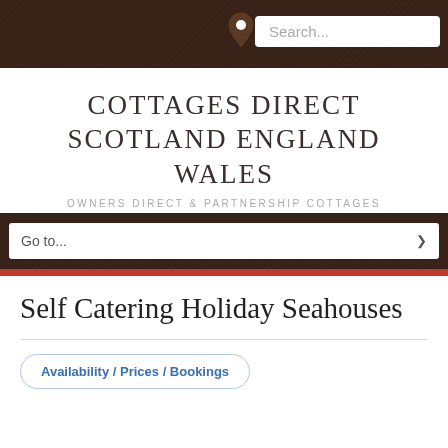Search...
COTTAGES DIRECT SCOTLAND ENGLAND WALES
OWNERS DIRECT & PARTNERSHIP COTTAGES
Go to...
Self Catering Holiday Seahouses
Availability / Prices / Bookings